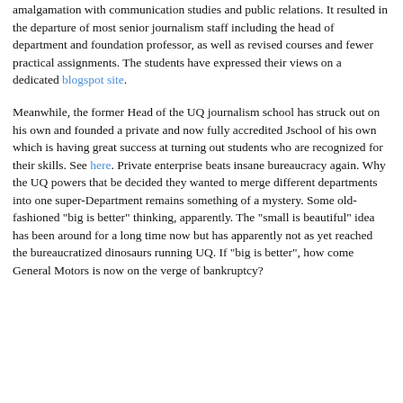best journalism school in Australia, but standards appear to have plummeted since the former Department of Journalism was forced into a bitterly-opposed amalgamation with communication studies and public relations. It resulted in the departure of most senior journalism staff including the head of department and foundation professor, as well as revised courses and fewer practical assignments. The students have expressed their views on a dedicated blogspot site.
Meanwhile, the former Head of the UQ journalism school has struck out on his own and founded a private and now fully accredited Jschool of his own which is having great success at turning out students who are recognized for their skills. See here. Private enterprise beats insane bureaucracy again. Why the UQ powers that be decided they wanted to merge different departments into one super-Department remains something of a mystery. Some old-fashioned "big is better" thinking, apparently. The "small is beautiful" idea has been around for a long time now but has apparently not as yet reached the bureaucratized dinosaurs running UQ. If "big is better", how come General Motors is now on the verge of bankruptcy?